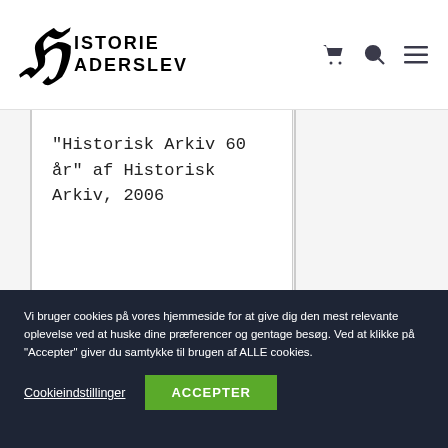[Figure (logo): Historie Haderslev logo with gothic H letter and bold sans-serif text]
"Historisk Arkiv 60 år" af Historisk Arkiv, 2006
Vi bruger cookies på vores hjemmeside for at give dig den mest relevante oplevelse ved at huske dine præferencer og gentage besøg. Ved at klikke på "Accepter" giver du samtykke til brugen af ALLE cookies.
Cookieindstillinger
ACCEPTER